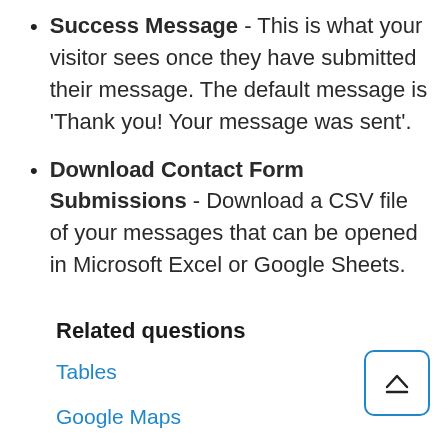Success Message - This is what your visitor sees once they have submitted their message. The default message is 'Thank you! Your message was sent'.
Download Contact Form Submissions - Download a CSV file of your messages that can be opened in Microsoft Excel or Google Sheets.
Related questions
Tables
Google Maps
Media gallery